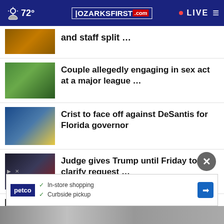72° OZARKSFIRST.com LIVE
and staff split …
Couple allegedly engaging in sex act at a major league …
Crist to face off against DeSantis for Florida governor
Judge gives Trump until Friday to clarify request …
More Stories ›
[Figure (screenshot): Petco advertisement banner: In-store shopping, Curbside pickup]